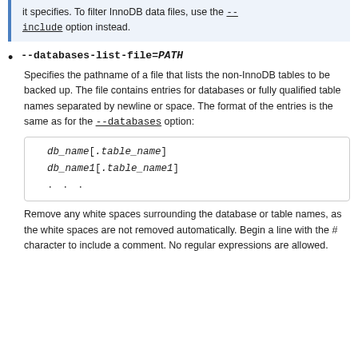it specifies. To filter InnoDB data files, use the --include option instead.
--databases-list-file=PATH
Specifies the pathname of a file that lists the non-InnoDB tables to be backed up. The file contains entries for databases or fully qualified table names separated by newline or space. The format of the entries is the same as for the --databases option:
[Figure (other): Code block showing: db_name[.table_name]
db_name1[.table_name1]
...]
Remove any white spaces surrounding the database or table names, as the white spaces are not removed automatically. Begin a line with the # character to include a comment. No regular expressions are allowed.